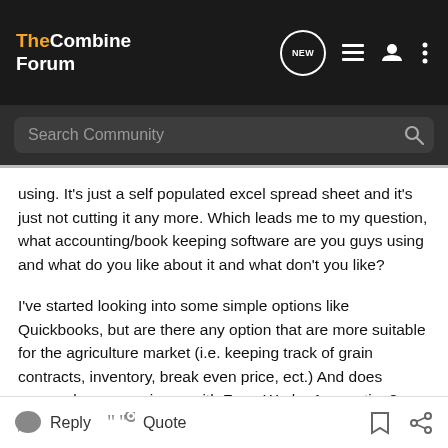The Combine Forum
using. It's just a self populated excel spread sheet and it's just not cutting it any more. Which leads me to my question, what accounting/book keeping software are you guys using and what do you like about it and what don't you like?

I've started looking into some simple options like Quickbooks, but are there any option that are more suitable for the agriculture market (i.e. keeping track of grain contracts, inventory, break even price, ect.) And does anyone have experience with Farm Work - Accounting? Looking at it online it's great (or so they say) but does anyone have any real experience with it?
Reply   Quote